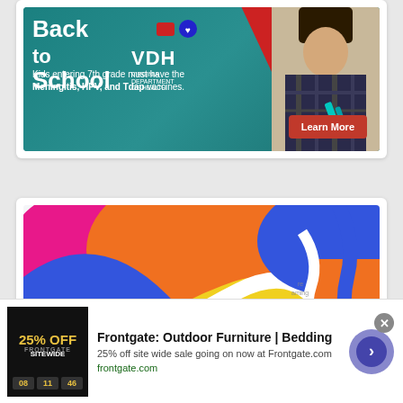[Figure (photo): Back to School VDH advertisement. Teal background with student image on right, red diagonal stripe. Text: 'Back to School', VDH Virginia Department of Health logo, 'Kids entering 7th grade must have the Meningitis, HPV, and Tdap vaccines.' with a red 'Learn More' button.]
[Figure (illustration): Colorful swirl artwork advertisement showing abstract multicolored (pink, orange, yellow, blue, white) swirling patterns with a person's face lit in purple light at bottom right. Infolinks badge in bottom left. Text 'Beautiful' in bottom center-left area.]
[Figure (screenshot): Bottom banner advertisement for Frontgate: Outdoor Furniture | Bedding. Shows '25% OFF SITEWIDE' dark banner image on left, text '25% off site wide sale going on now at Frontgate.com', URL 'frontgate.com' in green, blue circle arrow button on right. Close X button in top right corner.]